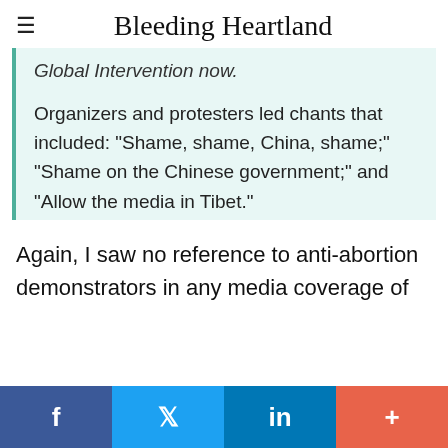Bleeding Heartland
Global Intervention now.
Organizers and protesters led chants that included: "Shame, shame, China, shame;" "Shame on the Chinese government;" and "Allow the media in Tibet."
Again, I saw no reference to anti-abortion demonstrators in any media coverage of
f  t  in  +